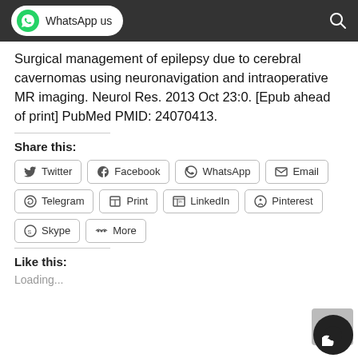WhatsApp us
Surgical management of epilepsy due to cerebral cavernomas using neuronavigation and intraoperative MR imaging. Neurol Res. 2013 Oct 23:0. [Epub ahead of print] PubMed PMID: 24070413.
Share this:
Twitter
Facebook
WhatsApp
Email
Telegram
Print
LinkedIn
Pinterest
Skype
More
Like this:
Loading...